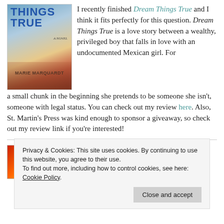[Figure (photo): Book cover of 'Dream Things True' by Marie Marquardt, showing two figures against a colorful landscape background.]
I recently finished Dream Things True and I think it fits perfectly for this question. Dream Things True is a love story between a wealthy, privileged boy that falls in love with an undocumented Mexican girl. For a small chunk in the beginning she pretends to be someone she isn't, someone with legal status. You can check out my review here. Also, St. Martin's Press was kind enough to sponsor a giveaway, so check out my review link if you're interested!
[Figure (photo): Colorful book cover image at the bottom left, partially visible, with red, orange and yellow tones.]
Ten Tuesday to Exploring my
Privacy & Cookies: This site uses cookies. By continuing to use this website, you agree to their use. To find out more, including how to control cookies, see here: Cookie Policy